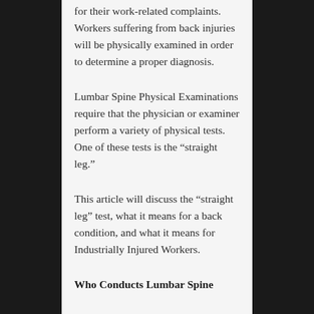for their work-related complaints.  Workers suffering from back injuries will be physically examined in order to determine a proper diagnosis.
Lumbar Spine Physical Examinations require that the physician or examiner perform a variety of physical tests.  One of these tests is the “straight leg.”
This article will discuss the “straight leg” test, what it means for a back condition, and what it means for Industrially Injured Workers.
Who Conducts Lumbar Spine